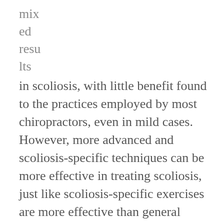mix
ed
resu
lts
in scoliosis, with little benefit found to the practices employed by most chiropractors, even in mild cases.  However, more advanced and scoliosis-specific techniques can be more effective in treating scoliosis, just like scoliosis-specific exercises are more effective than general physical therapy.  Scoliosis specific chiropractic differs not only in the frequency of treatment, duration of treatment, but in the actual chiropractic treatment delivered to the patient.
CLEAR™ scoliosis treatment is different from